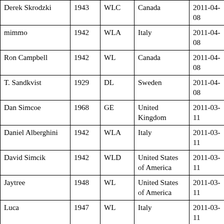| Derek Skrodzki | 1943 | WLC | Canada | 2011-04-08 |
| mimmo | 1942 | WLA | Italy | 2011-04-08 |
| Ron Campbell | 1942 | WL | Canada | 2011-04-08 |
| T. Sandkvist | 1929 | DL | Sweden | 2011-04-08 |
| Dan Simcoe | 1968 | GE | United Kingdom | 2011-03-11 |
| Daniel Alberghini | 1942 | WLA | Italy | 2011-03-11 |
| David Simcik | 1942 | WLD | United States of America | 2011-03-11 |
| Jaytree | 1948 | WL | United States of America | 2011-03-11 |
| Luca | 1947 | WL | Italy | 2011-03-11 |
| mick unwin | 1947 | G | Australia | 2011-03-11 |
| mimmo | 1942 | WLA | Italy | 2011-03-11 |